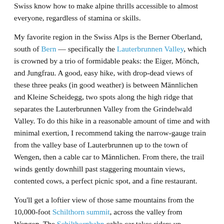Swiss know how to make alpine thrills accessible to almost everyone, regardless of stamina or skills.
My favorite region in the Swiss Alps is the Berner Oberland, south of Bern — specifically the Lauterbrunnen Valley, which is crowned by a trio of formidable peaks: the Eiger, Mönch, and Jungfrau. A good, easy hike, with drop-dead views of these three peaks (in good weather) is between Männlichen and Kleine Scheidegg, two spots along the high ridge that separates the Lauterbrunnen Valley from the Grindelwald Valley. To do this hike in a reasonable amount of time and with minimal exertion, I recommend taking the narrow-gauge train from the valley base of Lauterbrunnen up to the town of Wengen, then a cable car to Männlichen. From there, the trail winds gently downhill past staggering mountain views, contented cows, a perfect picnic spot, and a fine restaurant.
You'll get a loftier view of those same mountains from the 10,000-foot Schilthorn summit, across the valley from Wengen. The Schilthornbahn cable car takes riders up effortlessly in four stages. At about $100 round-trip, it's a pricey trip, but when